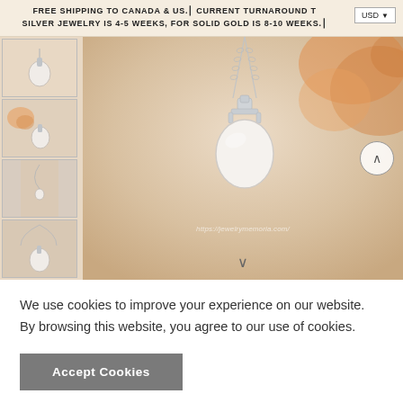FREE SHIPPING TO CANADA & US.⎮ CURRENT TURNAROUND T... SILVER JEWELRY IS 4-5 WEEKS, FOR SOLID GOLD IS 8-10 WEEKS.⎮
[Figure (photo): E-commerce product page screenshot showing a white opal/moonstone oval pendant necklace in silver setting. Left column has 4 thumbnail photos of the necklace from different angles and worn on a model. Main large image shows the pendant on a peach/beige silk fabric background with orange rose petals. A watermark 'https://jewelrymemoria.com/' is visible on the main image. Navigation arrows (up and down) are visible on the right side and bottom of the main image.]
We use cookies to improve your experience on our website. By browsing this website, you agree to our use of cookies.
Accept Cookies